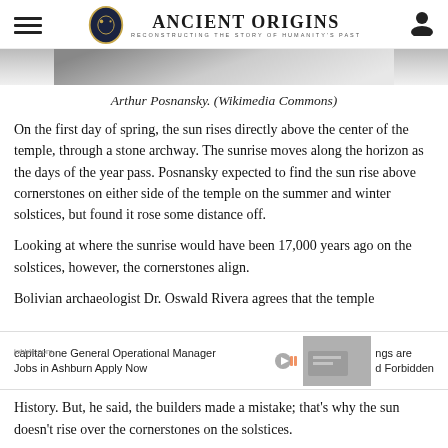Ancient Origins — Reconstructing the Story of Humanity's Past
[Figure (photo): Partially visible photograph at top of page, grayscale, showing a partial figure (Arthur Posnansky)]
Arthur Posnansky. (Wikimedia Commons)
On the first day of spring, the sun rises directly above the center of the temple, through a stone archway. The sunrise moves along the horizon as the days of the year pass. Posnansky expected to find the sun rise above cornerstones on either side of the temple on the summer and winter solstices, but found it rose some distance off.
Looking at where the sunrise would have been 17,000 years ago on the solstices, however, the cornerstones align.
Bolivian archaeologist Dr. Oswald Rivera agrees that the temple
ings are
d Forbidden
History. But, he said, the builders made a mistake; that's why the sun doesn't rise over the cornerstones on the solstices.
capital one General Operational Manager Jobs in Ashburn Apply Now